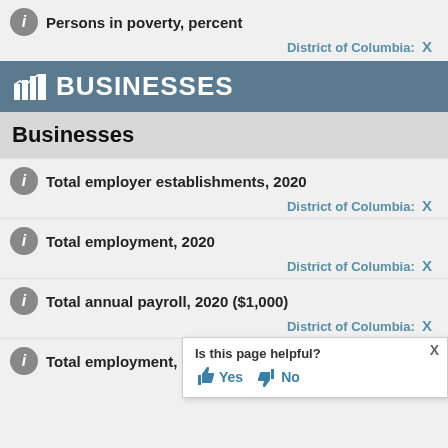Persons in poverty, percent
District of Columbia: X
BUSINESSES
Businesses
Total employer establishments, 2020
District of Columbia: X
Total employment, 2020
District of Columbia: X
Total annual payroll, 2020 ($1,000)
District of Columbia: X
Total employment, percent ch
Dis
Is this page helpful? Yes No